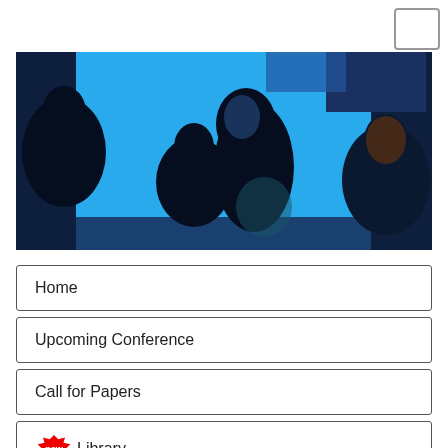[Figure (photo): People viewed from behind looking at a large bright blue screen/display in a dark conference or exhibition setting.]
Home
Upcoming Conference
Call for Papers
new Library